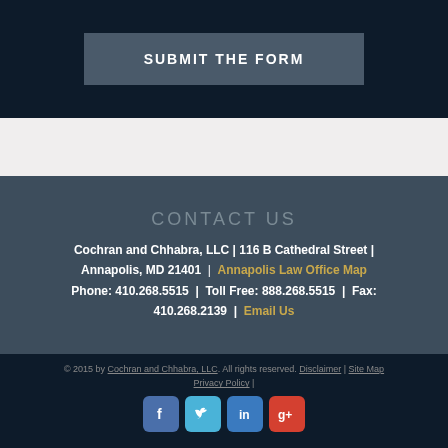SUBMIT THE FORM
CONTACT US
Cochran and Chhabra, LLC | 116 B Cathedral Street | Annapolis, MD 21401 | Annapolis Law Office Map
Phone: 410.268.5515 | Toll Free: 888.268.5515 | Fax: 410.268.2139 | Email Us
© 2015 by Cochran and Chhabra, LLC. All rights reserved. Disclaimer | Site Map Privacy Policy |